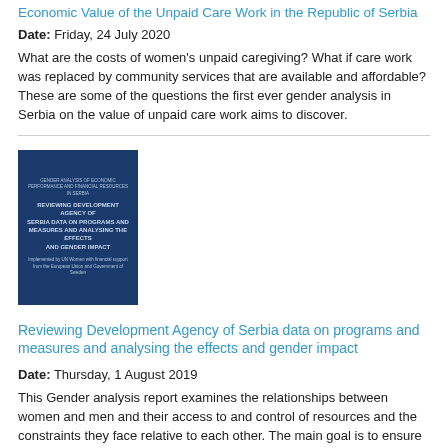Economic Value of the Unpaid Care Work in the Republic of Serbia
Date: Friday, 24 July 2020
What are the costs of women's unpaid caregiving? What if care work was replaced by community services that are available and affordable? These are some of the questions the first ever gender analysis in Serbia on the value of unpaid care work aims to discover.
[Figure (photo): Book cover for 'Reviewing Development Agency of Serbia data on programs and measures and analysing the effects and gender impact' — dark blue cover with white text]
Reviewing Development Agency of Serbia data on programs and measures and analysing the effects and gender impact
Date: Thursday, 1 August 2019
This Gender analysis report examines the relationships between women and men and their access to and control of resources and the constraints they face relative to each other. The main goal is to ensure that gender-based injustices and inequalities are not exacerbated by interventions, and that where is possible, greater...